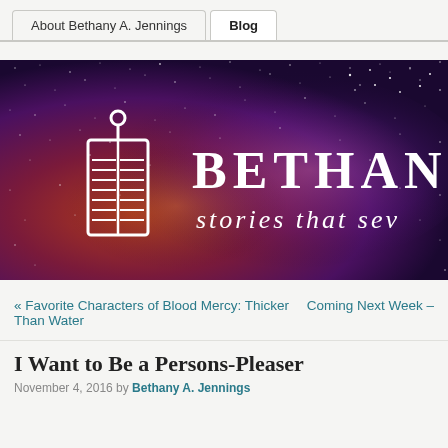About Bethany A. Jennings | Blog
[Figure (illustration): Banner image for Bethany A. Jennings website: dark purple/maroon galaxy/nebula starfield background with a white stylized lantern-book logo on the left and large white serif text 'BETHANY A.' on the right, with italic white subtext 'stories that sev' (partially cropped)]
« Favorite Characters of Blood Mercy: Thicker Than Water
Coming Next Week –
I Want to Be a Persons-Pleaser
November 4, 2016 by Bethany A. Jennings